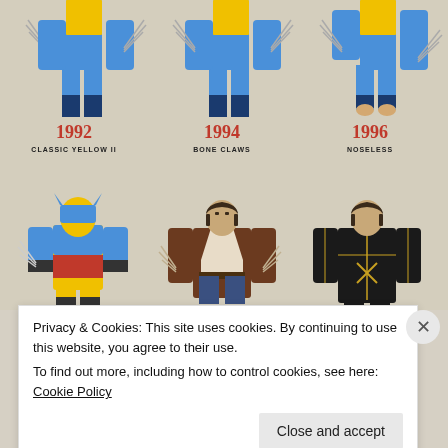[Figure (infographic): Wolverine costume evolution infographic showing three versions: 1992 Classic Yellow II, 1994 Bone Claws, and 1996 Noseless. Upper portion shows legs/lower body illustrations in blue and yellow costumes. Lower portion shows three full character illustrations: blue/yellow costume, brown jacket casual look, and black X-Men suit.]
1992
CLASSIC YELLOW II
After series writer Chris Claremont left, John Byrne briefly returned to co-write with artist Jim Lee. One day Lee proudly mentioned that he'd just given Wolverine his "real" costume back. There was an awkward pause when Byrne informed him that the Brown costume had been his idea.
1994
BONE CLAWS
In X-Men #25, Magneto ripped the adamantium out of Wolverine's body. Thankfully, his bones had only been laced with the metal rather than replaced entirely. It was soon revealed that he'd been born with bone claws, though without the metal they were no longer unbreakable.
1996
NOSELESS
After a year and a half of bone claws, fans were starting to get anxious. Finally, events were set in motion for his adamantium to be replaced in Wolverine #100. In a cruel twist, his body rejected the bonding process, and he was transformed into a noseless beast instead.
Privacy & Cookies: This site uses cookies. By continuing to use this website, you agree to their use.
To find out more, including how to control cookies, see here: Cookie Policy
Close and accept